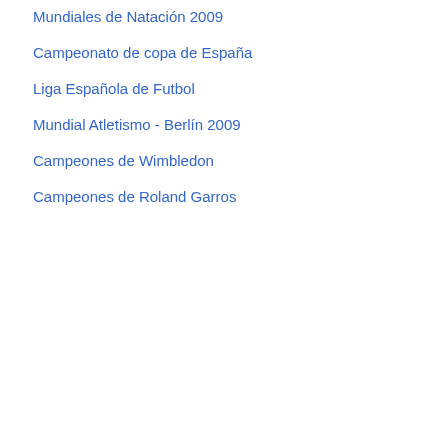Mundiales de Natación 2009
Campeonato de copa de España
Liga Española de Futbol
Mundial Atletismo - Berlín 2009
Campeones de Wimbledon
Campeones de Roland Garros